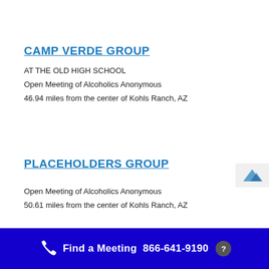CAMP VERDE GROUP
AT THE OLD HIGH SCHOOL
Open Meeting of Alcoholics Anonymous
46.94 miles from the center of Kohls Ranch, AZ
PLACEHOLDERS GROUP
Open Meeting of Alcoholics Anonymous
50.61 miles from the center of Kohls Ranch, AZ
Find a Meeting  866-641-9190